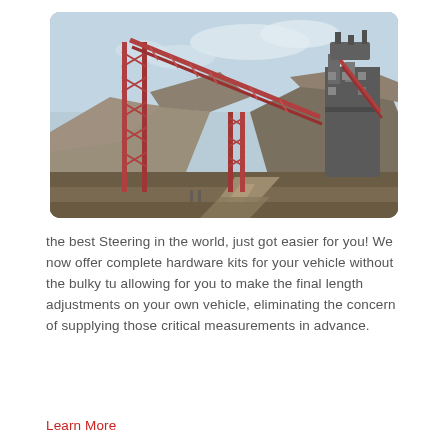[Figure (photo): Industrial mining or quarrying facility with large red steel conveyor/conveyor bridge structure spanning diagonally over a dirt road, rocky hillside in background, industrial building with equipment on the right side, under a partly cloudy sky.]
the best Steering in the world, just got easier for you! We now offer complete hardware kits for your vehicle without the bulky tu allowing for you to make the final length adjustments on your own vehicle, eliminating the concern of supplying those critical measurements in advance.
Learn More